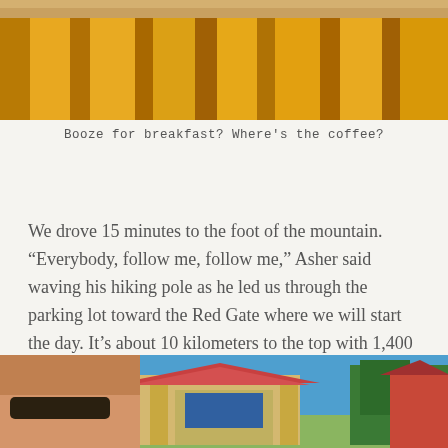[Figure (photo): Close-up photo of yellow/golden draped fabric or curtains]
Booze for breakfast? Where's the coffee?
We drove 15 minutes to the foot of the mountain. “Everybody, follow me, follow me,” Asher said waving his hiking pole as he led us through the parking lot toward the Red Gate where we will start the day. It’s about 10 kilometers to the top with 1,400 meters of elevation gain.
[Figure (photo): Selfie photo of a man with sunglasses in front of a traditional Chinese gate (Red Gate) with blue sky and trees in background]